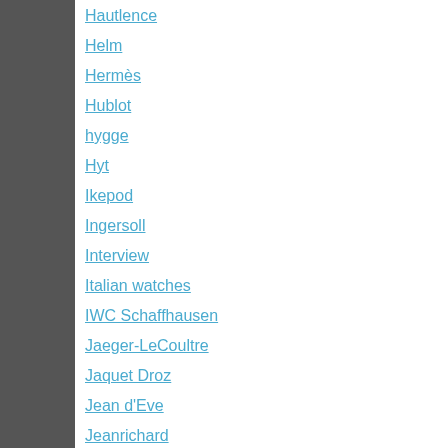Hautlence
Helm
Hermès
Hublot
hygge
Hyt
Ikepod
Ingersoll
Interview
Italian watches
IWC Schaffhausen
Jaeger-LeCoultre
Jaquet Droz
Jean d'Eve
Jeanrichard
Junghans